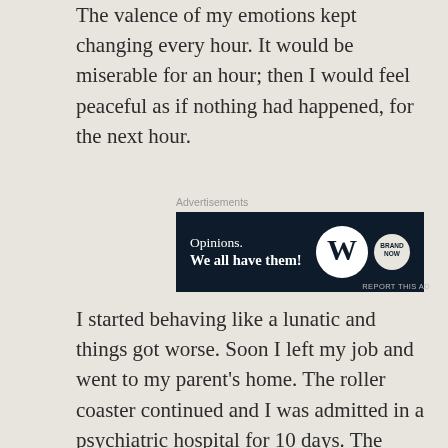The valence of my emotions kept changing every hour. It would be miserable for an hour; then I would feel peaceful as if nothing had happened, for the next hour.
[Figure (other): Advertisement banner with dark navy background. Text reads 'Opinions. We all have them!' with WordPress and Brand Now logos on the right.]
I started behaving like a lunatic and things got worse. Soon I left my job and went to my parent's home. The roller coaster continued and I was admitted in a psychiatric hospital for 10 days. The doctor prescribed haloperidol and chlorpromazine. (They are usually prescribed for schizophrenia. But I know the symptoms